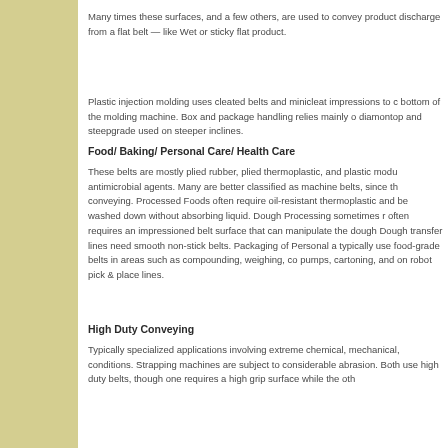Many times these surfaces, and a few others, are used to convey product discharge from a flat belt — like Wet or sticky flat product.
Plastic injection molding uses cleated belts and minicleat impressions to c bottom of the molding machine. Box and package handling relies mainly o diamontop and steepgrade used on steeper inclines.
Food/ Baking/ Personal Care/ Health Care
These belts are mostly plied rubber, plied thermoplastic, and plastic modu antimicrobial agents. Many are better classified as machine belts, since th conveying. Processed Foods often require oil-resistant thermoplastic and be washed down without absorbing liquid. Dough Processing sometimes r often requires an impressioned belt surface that can manipulate the dough Dough transfer lines need smooth non-stick belts. Packaging of Personal a typically use food-grade belts in areas such as compounding, weighing, co pumps, cartoning, and on robot pick & place lines.
High Duty Conveying
Typically specialized applications involving extreme chemical, mechanical, conditions. Strapping machines are subject to considerable abrasion. Both use high duty belts, though one requires a high grip surface while the oth